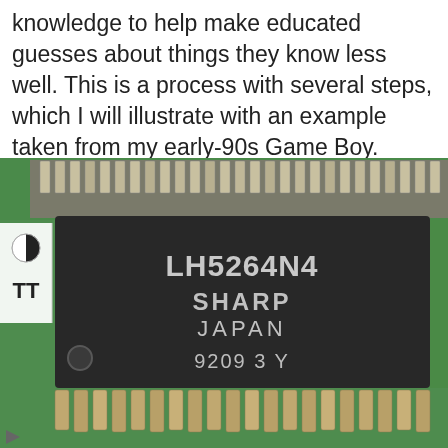knowledge to help make educated guesses about things they know less well. This is a process with several steps, which I will illustrate with an example taken from my early-90s Game Boy.
[Figure (photo): Close-up photograph of a Sharp LH5264N4 integrated circuit chip on a green Game Boy circuit board. The black IC chip is labeled 'LH5264N4 SHARP JAPAN 9209 3Y'. The chip has rows of metal pins along the top and bottom edges. A UI overlay with contrast and text-size buttons is visible on the left side.]